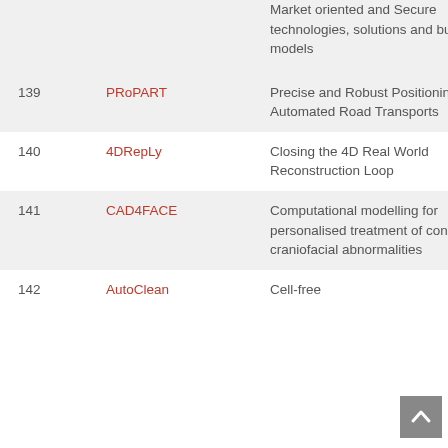| # | Name | Description |
| --- | --- | --- |
|  |  | Market oriented and Secure technologies, solutions and business models |
| 139 | PRoPART | Precise and Robust Positioning for Automated Road Transports |
| 140 | 4DRepLy | Closing the 4D Real World Reconstruction Loop |
| 141 | CAD4FACE | Computational modelling for personalised treatment of congenital craniofacial abnormalities |
| 142 | AutoClean | Cell-free... |